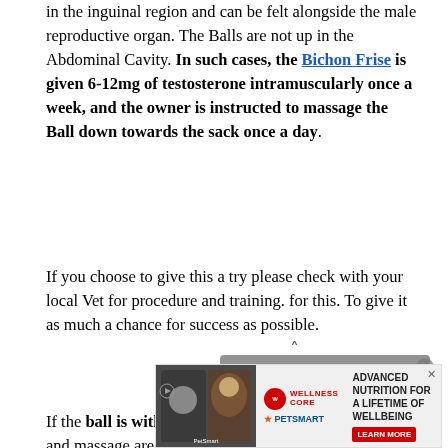in the inguinal region and can be felt alongside the male reproductive organ. The Balls are not up in the Abdominal Cavity. In such cases, the Bichon Frise is given 6-12mg of testosterone intramuscularly once a week, and the owner is instructed to massage the Ball down towards the sack once a day.
If you choose to give this a try please check with your local Vet for procedure and training. for this. To give it as much a chance for success as possible.
[Figure (other): Video player overlay showing 'No compatible source was found for this media.' message over a grayed-out background]
If the ball is within the abdomen, hormone injections and massage are useless. In the young
[Figure (other): Advertisement banner for Wellness Core / PetSmart: Advanced Nutrition for a Lifetime of Wellbeing with Learn More button]